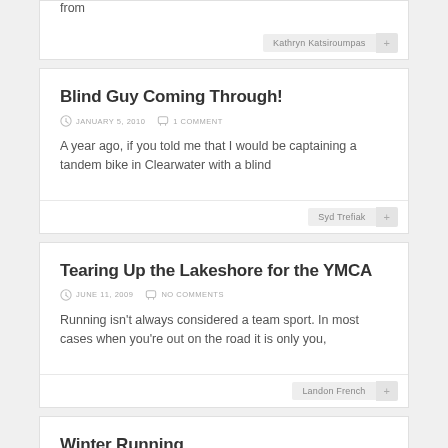from
Kathryn Katsiroumpas
Blind Guy Coming Through!
JANUARY 5, 2010   1 COMMENT
A year ago, if you told me that I would be captaining a tandem bike in Clearwater with a blind
Syd Trefiak
Tearing Up the Lakeshore for the YMCA
JUNE 11, 2009   NO COMMENTS
Running isn't always considered a team sport. In most cases when you're out on the road it is only you,
Landon French
Winter Running
DECEMBER 29, 2008   1 COMMENT